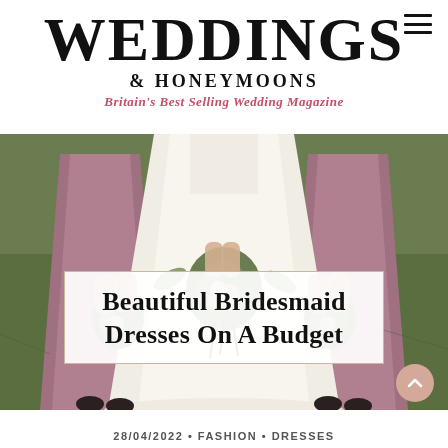WEDDINGS & HONEYMOONS
Britain's Best Selling Wedding Magazine
[Figure (photo): A bride in a white gown standing between two bridesmaids in mauve/dusty rose dresses, all holding bouquets of greenery and flowers, standing on grass outdoors.]
Beautiful Bridesmaid Dresses On A Budget
28/04/2022 • FASHION • DRESSES